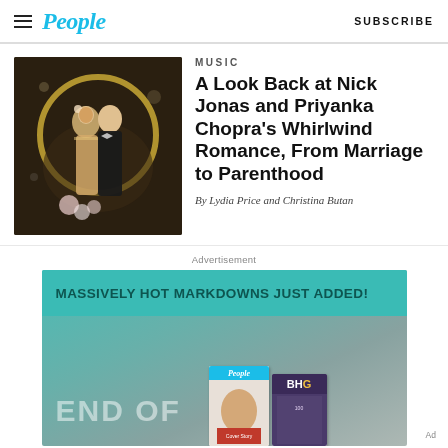People — SUBSCRIBE
MUSIC
[Figure (photo): Nick Jonas and Priyanka Chopra at what appears to be their wedding ceremony, dressed in traditional attire against a dark floral background.]
A Look Back at Nick Jonas and Priyanka Chopra's Whirlwind Romance, From Marriage to Parenthood
By Lydia Price and Christina Butan
Advertisement
[Figure (other): Advertisement banner: MASSIVELY HOT MARKDOWNS JUST ADDED! END OF (text cut off) with People and BHG magazine covers shown.]